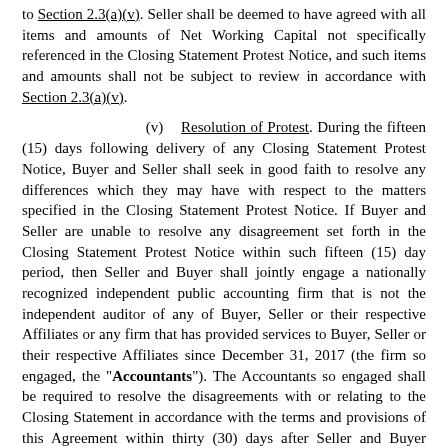to Section 2.3(a)(v). Seller shall be deemed to have agreed with all items and amounts of Net Working Capital not specifically referenced in the Closing Statement Protest Notice, and such items and amounts shall not be subject to review in accordance with Section 2.3(a)(v).
(v) Resolution of Protest. During the fifteen (15) days following delivery of any Closing Statement Protest Notice, Buyer and Seller shall seek in good faith to resolve any differences which they may have with respect to the matters specified in the Closing Statement Protest Notice. If Buyer and Seller are unable to resolve any disagreement set forth in the Closing Statement Protest Notice within such fifteen (15) day period, then Seller and Buyer shall jointly engage a nationally recognized independent public accounting firm that is not the independent auditor of any of Buyer, Seller or their respective Affiliates or any firm that has provided services to Buyer, Seller or their respective Affiliates since December 31, 2017 (the firm so engaged, the "Accountants"). The Accountants so engaged shall be required to resolve the disagreements with or relating to the Closing Statement in accordance with the terms and provisions of this Agreement within thirty (30) days after Seller and Buyer submit the matter to the Accountants, which resolution shall, absent manifest error, be final and binding on each of the Parties.